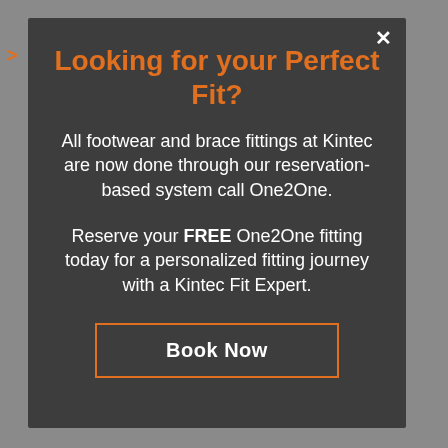Looking for your Perfect Fit?
All footwear and brace fittings at Kintec are now done through our reservation-based system call One2One.
Reserve your FREE One2One fitting today for a personalized fitting journey with a Kintec Fit Expert.
Book Now